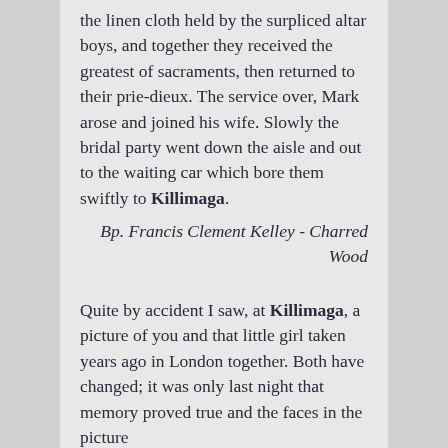Together the bride and groom approached the linen cloth held by the surpliced altar boys, and together they received the greatest of sacraments, then returned to their prie-dieux. The service over, Mark arose and joined his wife. Slowly the bridal party went down the aisle and out to the waiting car which bore them swiftly to Killimaga.
Bp. Francis Clement Kelley - Charred Wood
Quite by accident I saw, at Killimaga, a picture of you and that little girl taken years ago in London together. Both have changed; it was only last night that memory proved true and the faces in the picture